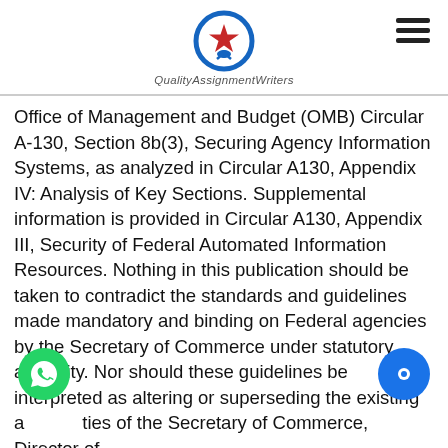QualityAssignmentWriters
Office of Management and Budget (OMB) Circular A-130, Section 8b(3), Securing Agency Information Systems, as analyzed in Circular A130, Appendix IV: Analysis of Key Sections. Supplemental information is provided in Circular A130, Appendix III, Security of Federal Automated Information Resources. Nothing in this publication should be taken to contradict the standards and guidelines made mandatory and binding on Federal agencies by the Secretary of Commerce under statutory authority. Nor should these guidelines be interpreted as altering or superseding the existing authorities of the Secretary of Commerce, Director of the OMB, or any other Federal official. This publication may be used by nongovernmental